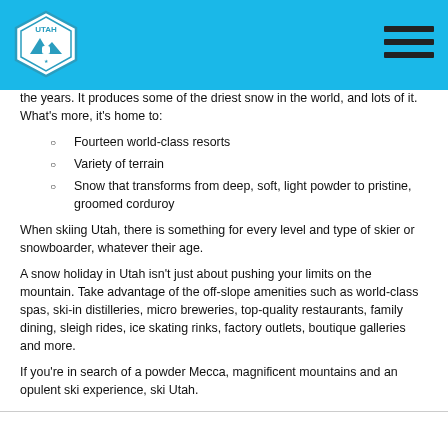[Figure (logo): Utah hexagonal logo badge with mountain and building icons]
the years. It produces some of the driest snow in the world, and lots of it. What's more, it's home to:
Fourteen world-class resorts
Variety of terrain
Snow that transforms from deep, soft, light powder to pristine, groomed corduroy
When skiing Utah, there is something for every level and type of skier or snowboarder, whatever their age.
A snow holiday in Utah isn't just about pushing your limits on the mountain. Take advantage of the off-slope amenities such as world-class spas, ski-in distilleries, micro breweries, top-quality restaurants, family dining, sleigh rides, ice skating rinks, factory outlets, boutique galleries and more.
If you're in search of a powder Mecca, magnificent mountains and an opulent ski experience, ski Utah.